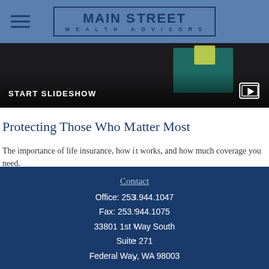MAIN STREET WEALTH ADVISORS
[Figure (screenshot): Slideshow banner with dark background showing teal and yellow colored objects, with START SLIDESHOW text and play button icon]
Protecting Those Who Matter Most
The importance of life insurance, how it works, and how much coverage you need.
Contact
Office: 253.944.1047
Fax: 253.944.1075
33801 1st Way South
Suite 271
Federal Way, WA 98003